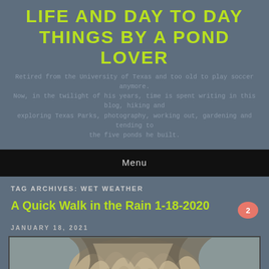LIFE AND DAY TO DAY THINGS BY A POND LOVER
Retired from the University of Texas and too old to play soccer anymore. Now, in the twilight of his years, time is spent writing in this blog, hiking and exploring Texas Parks, photography, working out, gardening and tending to the five ponds he built.
Menu
TAG ARCHIVES: WET WEATHER
A Quick Walk in the Rain 1-18-2020
JANUARY 18, 2021
[Figure (photo): A shaggy wet dog close-up photograph, gray and tan fur, looking toward camera]